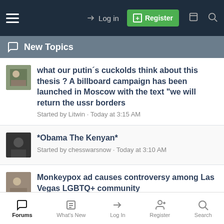Log in | Register
New Topics
what our putin´s cuckolds think about this thesis ? A billboard campaign has been launched in Moscow with the text "we will return the ussr borders"
Started by Litwin · Today at 3:15 AM
*Obama The Kenyan*
Started by chesswarsnow · Today at 3:10 AM
Monkeypox ad causes controversy among Las Vegas LGBTQ+ community
Started by basquebromance · Today at 3:01 AM
putin has been forced to turn to North Korea to buy
Forums | What's New | Log In | Register | Search